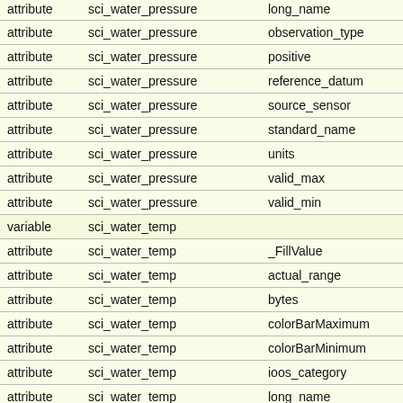| type | variable_name | attribute_name |
| --- | --- | --- |
| attribute | sci_water_pressure | long_name |
| attribute | sci_water_pressure | observation_type |
| attribute | sci_water_pressure | positive |
| attribute | sci_water_pressure | reference_datum |
| attribute | sci_water_pressure | source_sensor |
| attribute | sci_water_pressure | standard_name |
| attribute | sci_water_pressure | units |
| attribute | sci_water_pressure | valid_max |
| attribute | sci_water_pressure | valid_min |
| variable | sci_water_temp |  |
| attribute | sci_water_temp | _FillValue |
| attribute | sci_water_temp | actual_range |
| attribute | sci_water_temp | bytes |
| attribute | sci_water_temp | colorBarMaximum |
| attribute | sci_water_temp | colorBarMinimum |
| attribute | sci_water_temp | ioos_category |
| attribute | sci_water_temp | long_name |
| attribute | sci_water_temp | observation_type |
| attribute | sci_water_temp | source_sensor |
| attribute | sci_water_temp | standard_name |